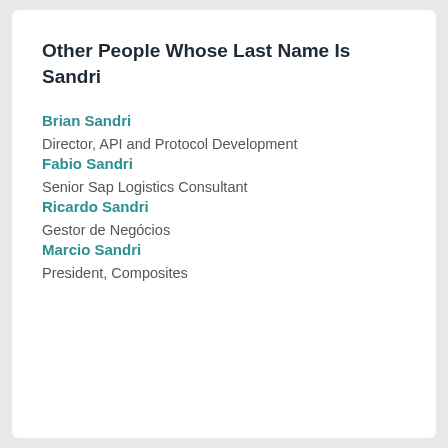Other People Whose Last Name Is Sandri
Brian Sandri
Director, API and Protocol Development
Fabio Sandri
Senior Sap Logistics Consultant
Ricardo Sandri
Gestor de Negócios
Marcio Sandri
President, Composites